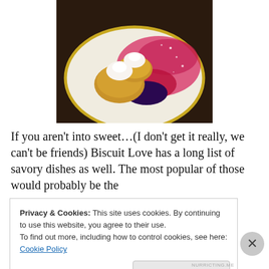[Figure (photo): A plate with small round pastries or biscuits topped with whipped cream rosettes, served on a white plate with a decorative berry sauce swirled around them.]
If you aren't into sweet…(I don't get it really, we can't be friends) Biscuit Love has a long list of savory dishes as well. The most popular of those would probably be the
Privacy & Cookies: This site uses cookies. By continuing to use this website, you agree to their use.
To find out more, including how to control cookies, see here: Cookie Policy